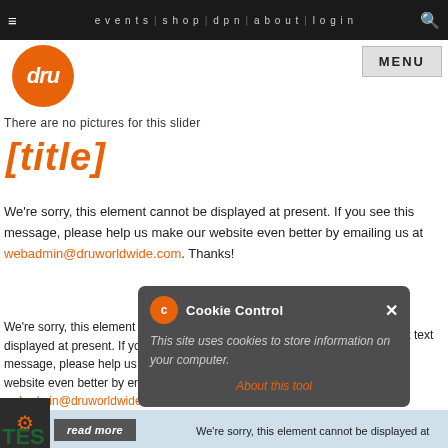≡  events | shop | dpn | about | log in 🔍
[Figure (logo): Dru orange circular logo with italic 'dru' text in white]
MENU
There are no pictures for this slider
[title]
We're sorry, this element cannot be displayed at present. If you see this message, please help us make our website even better by emailing us at webadmin@druworldwide.com. Thanks!
We're sorry, this element cannot be displayed at present. If you see this message, please help us make our website even better by emailing us at webadmin@druworldwide.com. Thanks!
Dru no result text
[Figure (screenshot): Cookie Control popup overlay with orange gear icon, close button, message 'This site uses cookies to store information on your computer.' and 'About this tool' link]
read more
We're sorry, this element cannot be displayed at